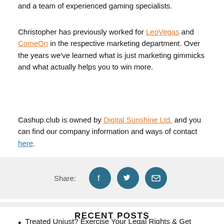and a team of experienced gaming specialists.
Christopher has previously worked for LeoVegas and ComeOn in the respective marketing department. Over the years we've learned what is just marketing gimmicks and what actually helps you to win more.
Cashup.club is owned by Digital Sunshine Ltd. and you can find our company information and ways of contact here.
[Figure (other): Share bar with Facebook, Twitter, and Email icon buttons]
RECENT POSTS
Treated Unjust? Exercise Your Legal Rights & Get Your